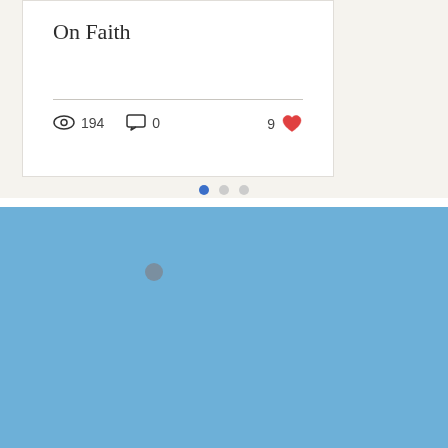On Faith
194 views · 0 comments · 9 likes
[Figure (screenshot): Carousel pagination dots: one filled blue dot and two grey dots indicating slide position]
[Figure (photo): Light blue background section with a grey loading/spinner dot, possibly an image loading placeholder]